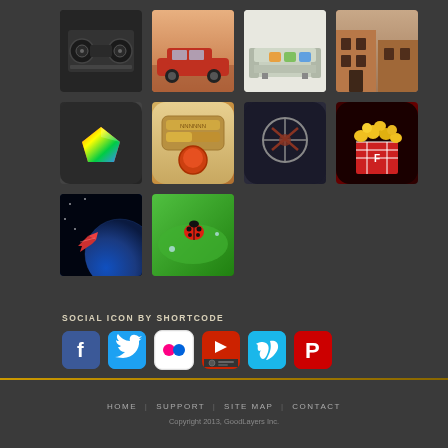[Figure (photo): Grid of 10 thumbnail images arranged in 3 rows: Row 1 has tape recorder, vintage car, modern sofa, brick building; Row 2 has colorful gem app icon, toggle switch app, dark crosshair/ninja app, popcorn app; Row 3 has airplane in space, ladybug on leaf]
SOCIAL ICON BY SHORTCODE
[Figure (infographic): Six social media icons: Facebook (blue f), Twitter (cyan bird), Flickr (colored dots on white), YouTube/video (red play button with film strip), Vimeo (cyan V), Pinterest (red P)]
HOME  |  SUPPORT  |  SITE MAP  |  CONTACT
Copyright 2013, GoodLayers Inc.